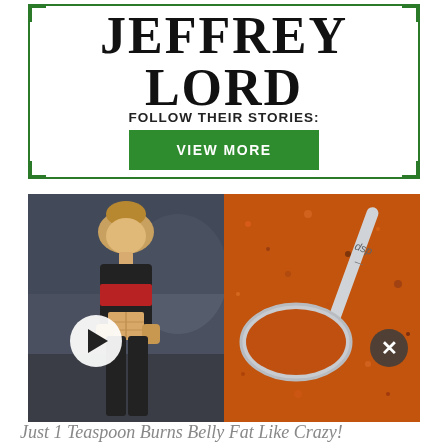JEFFREY LORD
FOLLOW THEIR STORIES:
VIEW MORE
[Figure (photo): Split composite photo: left side shows a fit athletic woman in gym wear showing her abs, right side shows a metal measuring spoon filled with orange/red spice powder. Play button overlay at bottom left, close button at bottom right.]
Just 1 Teaspoon Burns Belly Fat Like Crazy!